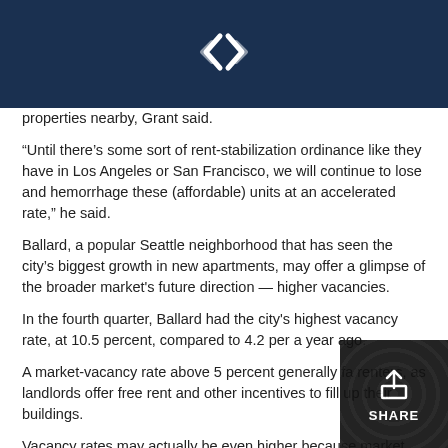[Logo: stylized double-arrow/diamond mark]
properties nearby, Grant said.
“Until there’s some sort of rent-stabilization ordinance like they have in Los Angeles or San Francisco, we will continue to lose and hemorrhage these (affordable) units at an accelerated rate,” he said.
Ballard, a popular Seattle neighborhood that has seen the city’s biggest growth in new apartments, may offer a glimpse of the broader market's future direction — higher vacancies.
In the fourth quarter, Ballard had the city's highest vacancy rate, at 10.5 percent, compared to 4.2 per a year ago.
A market-vacancy rate above 5 percent generally fa renters, as landlords offer free rent and other incentives to fill up their buildings.
Vacancy rates may actually be even higher because market researchers don't count the inventory of new apartments leasing to their first tenants.